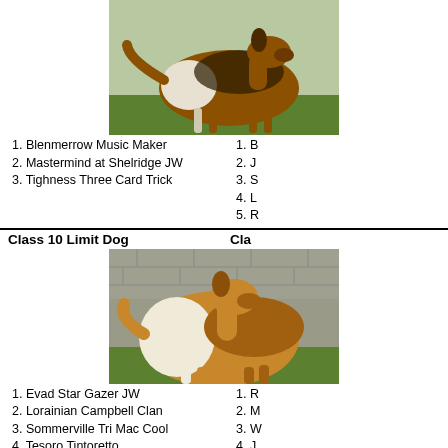[Figure (photo): A tricolor rough collie dog standing on grass, showing full side profile]
1. Blenmerrow Music Maker
2. Mastermind at Shelridge JW
3. Tighness Three Card Trick
1. B...
2. J...
3. S...
4. L...
5. R...
Class 10 Limit Dog
Cla...
[Figure (photo): A sable rough collie dog sitting/standing on grass in front of a brick wall]
1. Evad Star Gazer JW
2. Lorainian Campbell Clan
3. Sommerville Tri Mac Cool
4. Tesoro Tintoretto
5. Felthorn Jazz Singer JW
1. R...
2. M...
3. W...
4. J...
5. J...
Class 11 Open Dog
Cla...